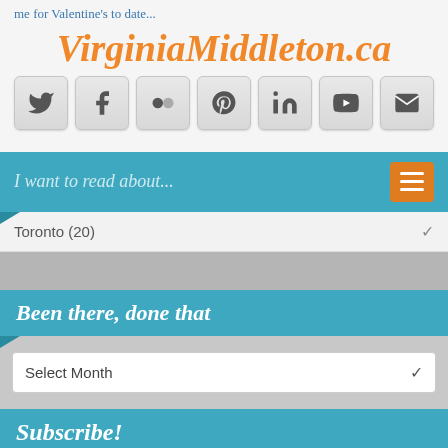me for Valentine's to date...
VirginiaMiddleton.ca
[Figure (infographic): Row of 7 social media icon buttons: Twitter, Facebook, Flickr, Pinterest, LinkedIn, YouTube, Email]
I want to read about...
Toronto  (20)
Been there, done that
Select Month
Subscribe!
Enter your email address to subscribe to this blog and receive notifications of new posts by email.